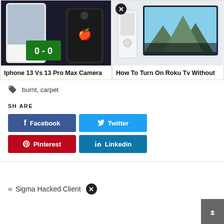[Figure (screenshot): Two article preview cards side by side. Left card shows iPhone 13 vs 13 Pro Max Camera comparison image with phones. Right card shows How To Turn On Roku Tv Without Remote article with TV screen screenshot.]
Iphone 13 Vs 13 Pro Max Camera
How To Turn On Roku Tv Without
burnt, carpet
SHARE
Facebook
Twitter
Pinterest
Linkedin
« Sigma Hacked Client